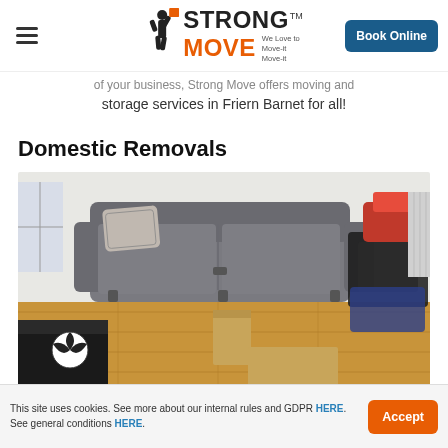Strong Move — We Love to Move-it Move-it | Book Online
of your business, Strong Move offers moving and storage services in Friern Barnet for all!
Domestic Removals
[Figure (photo): Living room interior showing a grey two-seater sofa with a patterned pillow, cardboard boxes on the floor, a football, and various bags and items piled to the right, hardwood flooring visible]
This site uses cookies. See more about our internal rules and GDPR HERE. See general conditions HERE.